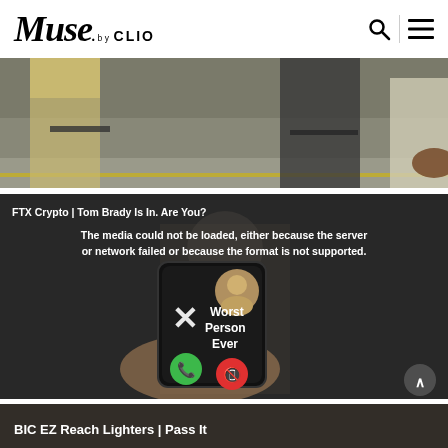Muse by CLIO
[Figure (photo): Partial photo of people walking, lower body visible, parking area background]
[Figure (screenshot): FTX Crypto Tom Brady Is In. Are You? video player showing media load error and phone screen with 'Worst Person Ever' caller display with green and red answer/decline buttons]
FTX Crypto | Tom Brady Is In. Are You?
The media could not be loaded, either because the server or network failed or because the format is not supported.
[Figure (photo): BIC EZ Reach Lighters | Pass It - dark background article thumbnail]